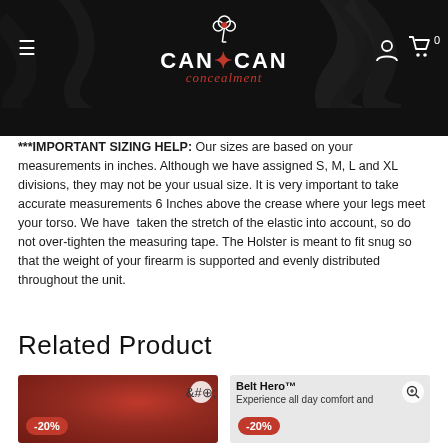[Figure (logo): Can Can Concealment logo with stylized text on dark background with swirl pattern, hamburger menu icon on left, user and cart icons on right]
***IMPORTANT SIZING HELP: Our sizes are based on your measurements in inches. Although we have assigned S, M, L and XL divisions, they may not be your usual size. It is very important to take accurate measurements 6 Inches above the crease where your legs meet your torso. We have taken the stretch of the elastic into account, so do not over-tighten the measuring tape. The Holster is meant to fit snug so that the weight of your firearm is supported and evenly distributed throughout the unit.
Related Product
[Figure (photo): Product photo card with red floral background, -20% badge, and zoom icon]
[Figure (photo): Product card with title 'Belt Hero™', -20% badge, zoom icon, and text 'Experience all day comfort and']